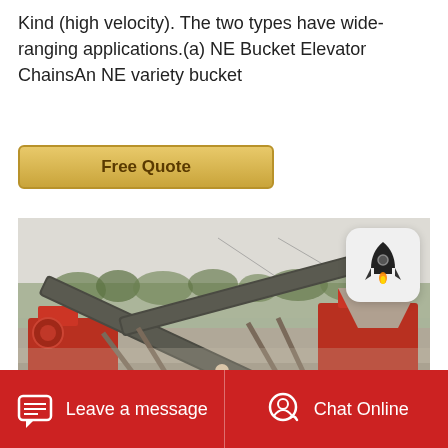Kind (high velocity). The two types have wide-ranging applications.(a) NE Bucket Elevator ChainsAn NE variety bucket
[Figure (other): A Free Quote button with gold/yellow background and brown bold text]
[Figure (photo): Industrial mining/crushing plant with conveyor belts, red machinery, and a worker standing in the foreground. Hazy sky background with trees.]
Leave a message   Chat Online